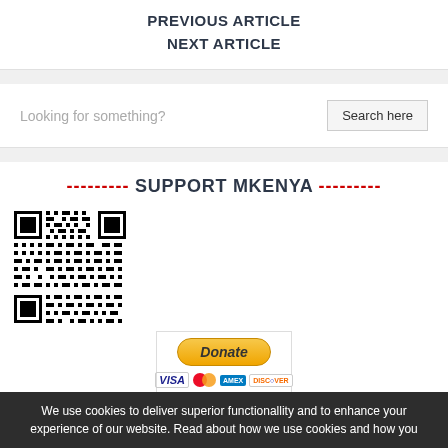PREVIOUS ARTICLE
NEXT ARTICLE
Looking for something?
Search here
--------- SUPPORT MKENYA ---------
[Figure (other): QR code for supporting Mkenya, with PayPal Donate button and payment card logos (VISA, MasterCard, AMEX, Discover)]
We use cookies to deliver superior functionallity and to enhance your experience of our website. Read about how we use cookies and how you